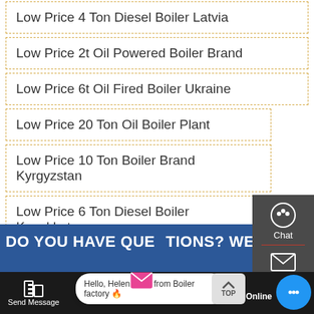Low Price 4 Ton Diesel Boiler Latvia
Low Price 2t Oil Powered Boiler Brand
Low Price 6t Oil Fired Boiler Ukraine
Low Price 20 Ton Oil Boiler Plant
Low Price 10 Ton Boiler Brand Kyrgyzstan
Low Price 6 Ton Diesel Boiler Kazakhstan
Low Price 2 Ton Boiler Brand Industrial
Chat
Email
Contact
DO YOU HAVE QUESTIONS? WE ARE
Hello, Helen here, from Boiler factory 🔥
Send Message
Inquiry Online